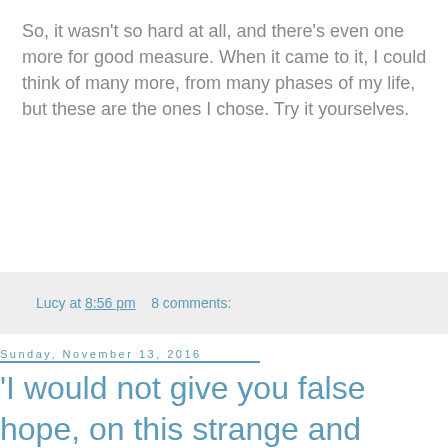So, it wasn't so hard at all, and there's even one more for good measure. When it came to it, I could think of many more, from many phases of my life, but these are the ones I chose. Try it yourselves.
Lucy at 8:56 pm    8 comments:
Sunday, November 13, 2016
'I would not give you false hope, on this strange and mournful day...'